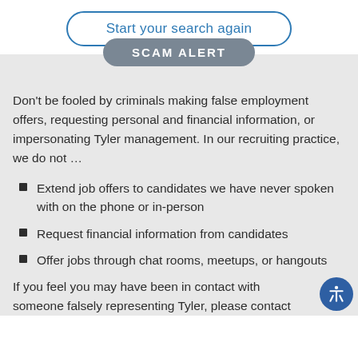[Figure (screenshot): Button with rounded border labeled 'Start your search again' in blue text]
SCAM ALERT
Don't be fooled by criminals making false employment offers, requesting personal and financial information, or impersonating Tyler management. In our recruiting practice, we do not …
Extend job offers to candidates we have never spoken with on the phone or in-person
Request financial information from candidates
Offer jobs through chat rooms, meetups, or hangouts
If you feel you may have been in contact with someone falsely representing Tyler, please contact